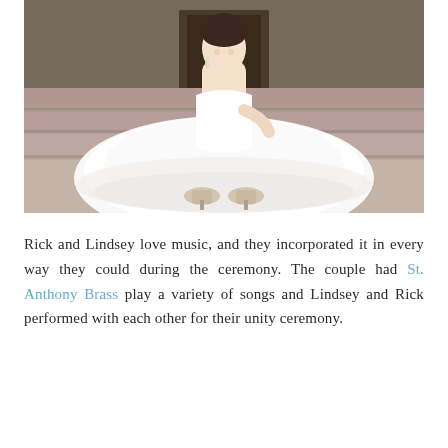[Figure (photo): A bride in a white ball gown wedding dress sits on stone steps, laughing and smiling, with her large white skirt spread around her. She wears platform heels visible beneath the dress. The background shows a stone wall building entrance.]
Rick and Lindsey love music, and they incorporated it in every way they could during the ceremony. The couple had St. Anthony Brass play a variety of songs and Lindsey and Rick performed with each other for their unity ceremony.